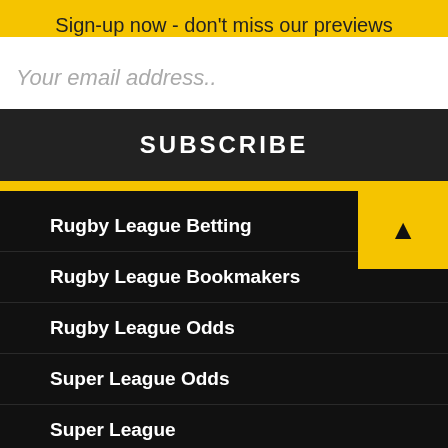Sign-up now - don't miss our previews
Your email address..
SUBSCRIBE
Rugby League Betting
Rugby League Bookmakers
Rugby League Odds
Super League Odds
Super League
This website uses cookies to improve your experience. We'll assume you're ok with this, but you can opt-out if you wish.
Accept
Reject
Read More